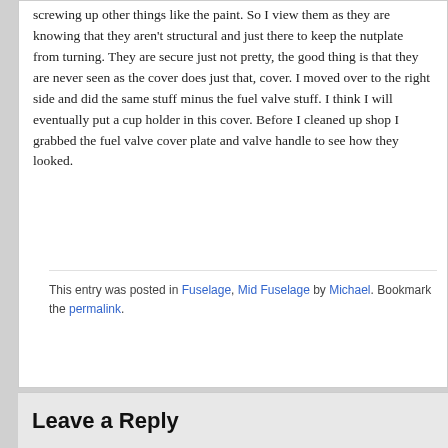screwing up other things like the paint. So I view them as they are knowing that they aren't structural and just there to keep the nutplate from turning. They are secure just not pretty, the good thing is that they are never seen as the cover does just that, cover. I moved over to the right side and did the same stuff minus the fuel valve stuff. I think I will eventually put a cup holder in this cover. Before I cleaned up shop I grabbed the fuel valve cover plate and valve handle to see how they looked.
This entry was posted in Fuselage, Mid Fuselage by Michael. Bookmark the permalink.
Leave a Reply